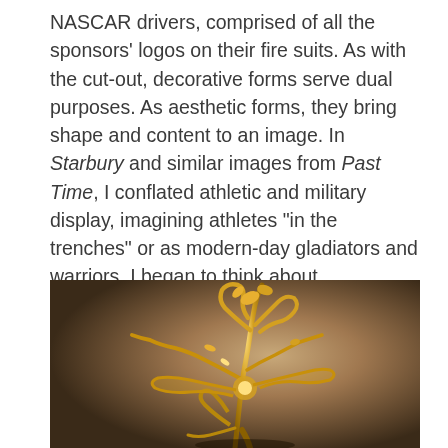NASCAR drivers, comprised of all the sponsors' logos on their fire suits. As with the cut-out, decorative forms serve dual purposes. As aesthetic forms, they bring shape and content to an image. In Starbury and similar images from Past Time, I conflated athletic and military display, imagining athletes "in the trenches" or as modern-day gladiators and warriors. I began to think about contemporary athletes' tattoos as parade armor worn by Medieval and Renaissance kings. That armor was never worn in battle. It was a narrative display of power.
[Figure (photo): A gold metallic sculptural object with ornate floral and wing-like forms, photographed against a warm brown gradient background.]